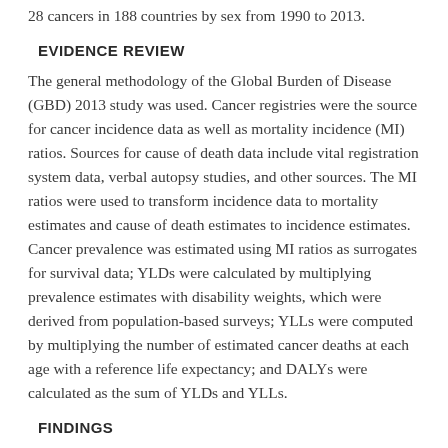28 cancers in 188 countries by sex from 1990 to 2013.
EVIDENCE REVIEW
The general methodology of the Global Burden of Disease (GBD) 2013 study was used. Cancer registries were the source for cancer incidence data as well as mortality incidence (MI) ratios. Sources for cause of death data include vital registration system data, verbal autopsy studies, and other sources. The MI ratios were used to transform incidence data to mortality estimates and cause of death estimates to incidence estimates. Cancer prevalence was estimated using MI ratios as surrogates for survival data; YLDs were calculated by multiplying prevalence estimates with disability weights, which were derived from population-based surveys; YLLs were computed by multiplying the number of estimated cancer deaths at each age with a reference life expectancy; and DALYs were calculated as the sum of YLDs and YLLs.
FINDINGS
In 2013 there were 14.9 million incident cancer cases, 8.2 million